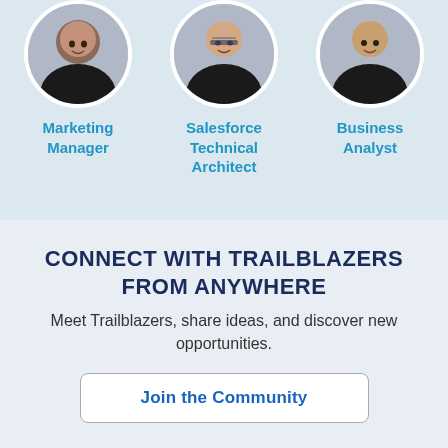[Figure (photo): Three circular headshot photos of professionals: a woman (Marketing Manager), a man with glasses (Salesforce Technical Architect), and a man (Business Analyst)]
Marketing Manager
Salesforce Technical Architect
Business Analyst
CONNECT WITH TRAILBLAZERS FROM ANYWHERE
Meet Trailblazers, share ideas, and discover new opportunities.
Join the Community